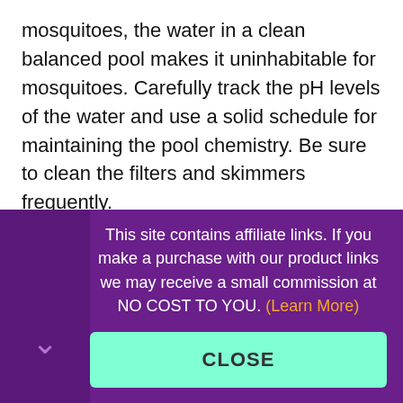mosquitoes, the water in a clean balanced pool makes it uninhabitable for mosquitoes. Carefully track the pH levels of the water and use a solid schedule for maintaining the pool chemistry. Be sure to clean the filters and skimmers frequently.
Use a Pool Cover
This site contains affiliate links. If you make a purchase with our product links we may receive a small commission at NO COST TO YOU. (Learn More)
CLOSE